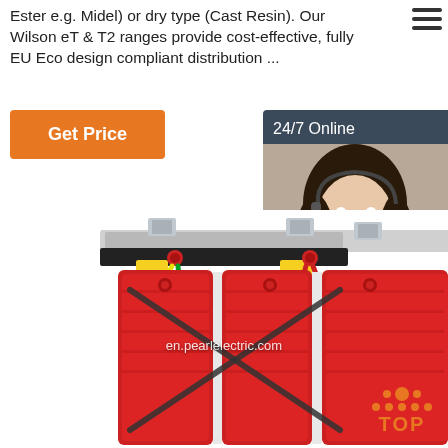Ester e.g. Midel) or dry type (Cast Resin). Our Wilson eT & T2 ranges provide cost-effective, fully EU Eco design compliant distribution ...
[Figure (other): Orange 'Get Price' button]
[Figure (other): 24/7 Online chat sidebar panel with photo of female customer service agent, 'Click here for free chat!' text, and orange QUOTATION button]
[Figure (photo): Dry-type cast resin distribution transformer with three red coil windings and yellow/green/red cables on top]
en.pearlelectric.com
[Figure (other): Orange TOP back-to-top button with dot pyramid icon]